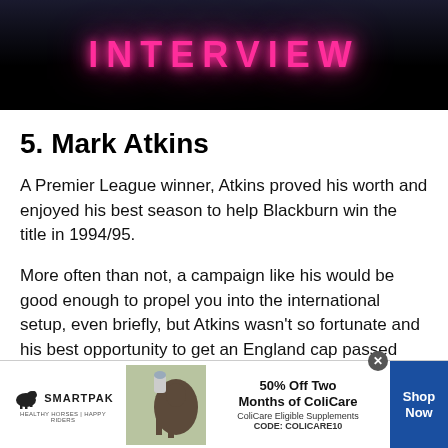[Figure (photo): Black background header image with neon pink glowing text reading INTERVIEW in capital letters with wide letter spacing]
5. Mark Atkins
A Premier League winner, Atkins proved his worth and enjoyed his best season to help Blackburn win the title in 1994/95.
More often than not, a campaign like his would be good enough to propel you into the international setup, even briefly, but Atkins wasn't so fortunate and his best opportunity to get an England cap passed him by.
[Figure (infographic): SmartPak advertisement banner: 50% Off Two Months of ColiCare, ColiCare Eligible Supplements, CODE: COLICARE10, with Shop Now button]